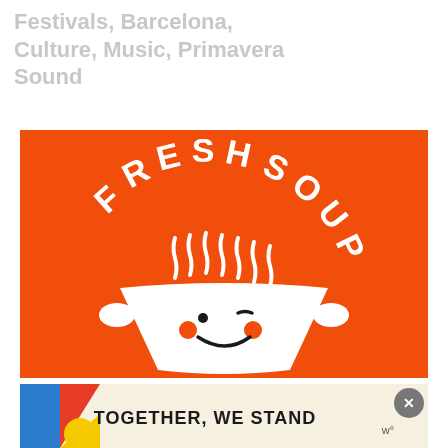Festivals, Barcelona, Culture, Music, Primavera Sound
[Figure (illustration): Fresh Soup logo on orange background: cartoon bowl of soup with a smiling face, steam lines rising, text 'FRESH SOUP' arched above in white bubbly letters]
[Figure (illustration): Advertisement banner with colorful abstract shapes and text 'TOGETHER, WE STAND' in bold black letters on a cream background, with a close button (x) and a small logo on the right]